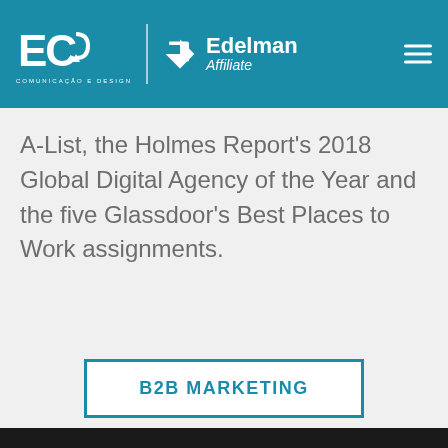[Figure (logo): EC Comunicação e Design logo with Edelman Affiliate branding on teal header background, with hamburger menu icon]
A-List, the Holmes Report's 2018 Global Digital Agency of the Year and the five Glassdoor's Best Places to Work assignments.
[Figure (other): B2B MARKETING button with teal border on white background]
We are using cookies to give you the best experience on our website.
You can find out more about which cookies we are using or switch them off in settings.
[Figure (other): Accept button with teal rounded background]